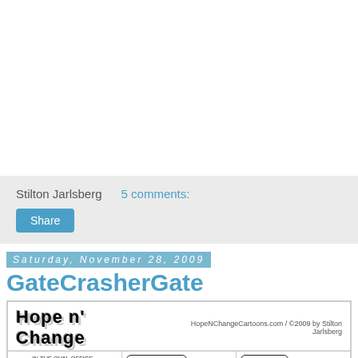Stilton Jarlsberg     5 comments:
Share
Saturday, November 28, 2009
GateCrasherGate
[Figure (illustration): Hope n' Change cartoon strip header with logo and three comic panels. Panel 1: 'IN THE OVAL OFFICE...' Panel 2: 'THEY LIED ABOUT' Panel 3: 'BEEN THERE,']